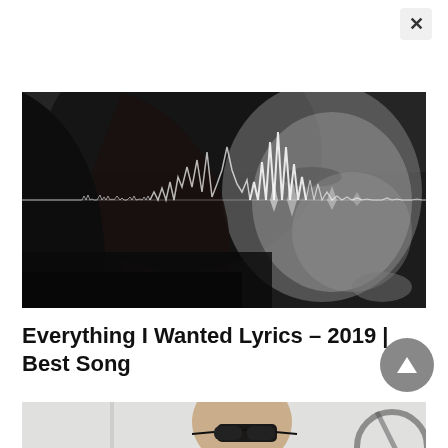[Figure (photo): Black and white close-up photo of a young woman with dark hair, eyes partially closed, with an audio waveform graphic overlaid across the middle of the image.]
Everything I Wanted Lyrics – 2019 | Best Song
[Figure (photo): Partial photo of a man wearing small black cat-eye sunglasses, cropped at the bottom of the page.]